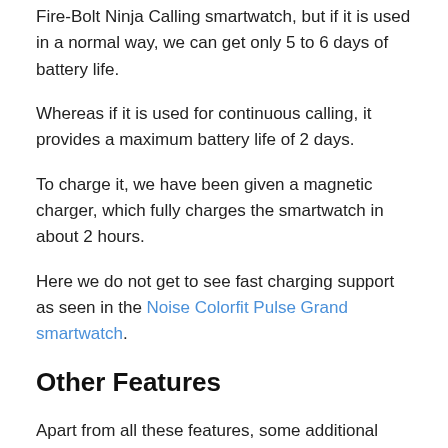Fire-Bolt Ninja Calling smartwatch, but if it is used in a normal way, we can get only 5 to 6 days of battery life.
Whereas if it is used for continuous calling, it provides a maximum battery life of 2 days.
To charge it, we have been given a magnetic charger, which fully charges the smartwatch in about 2 hours.
Here we do not get to see fast charging support as seen in the Noise Colorfit Pulse Grand smartwatch.
Other Features
Apart from all these features, some additional features have also been given in the Fire-Bolt Ninja Calling smartwatches like an IP67 rating which makes it dust, sweat, and splash resistant.